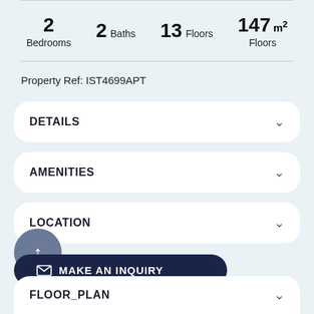2 Bedrooms  2 Baths  13 Floors  147 m² Floors
Property Ref: IST4699APT
DETAILS
AMENITIES
LOCATION
MAKE AN INQUIRY
FLOOR_PLAN